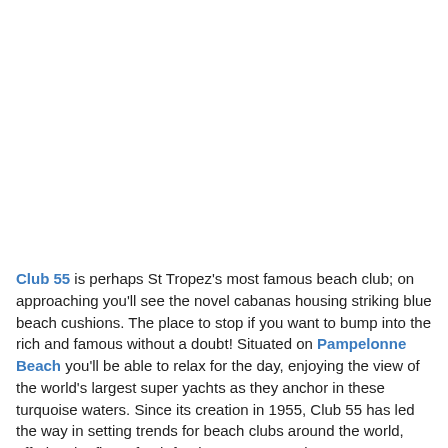Club 55 is perhaps St Tropez's most famous beach club; on approaching you'll see the novel cabanas housing striking blue beach cushions. The place to stop if you want to bump into the rich and famous without a doubt! Situated on Pampelonne Beach you'll be able to relax for the day, enjoying the view of the world's largest super yachts as they anchor in these turquoise waters. Since its creation in 1955, Club 55 has led the way in setting trends for beach clubs around the world, offering the finest fresh food menu you can buy.